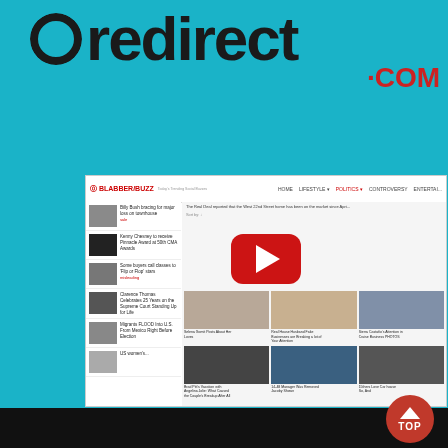[Figure (screenshot): Redirect.com logo on cyan/teal background above a screenshot of the BlabberBuzz website showing news articles, a YouTube video thumbnail overlay, and a grid of news images. A red 'TOP' button appears in the bottom right corner.]